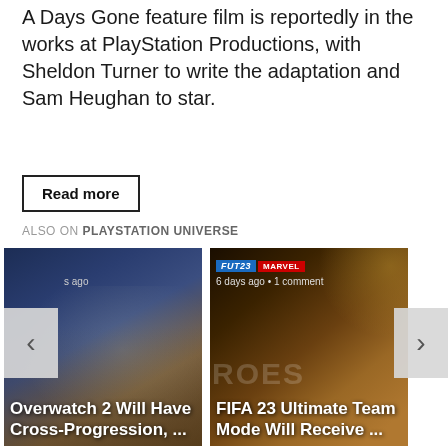A Days Gone feature film is reportedly in the works at PlayStation Productions, with Sheldon Turner to write the adaptation and Sam Heughan to star.
Read more
ALSO ON PLAYSTATION UNIVERSE
[Figure (screenshot): Card image for Overwatch 2 Will Have Cross-Progression article, showing game characters on a blue-purple background. Shows 'ago' timestamp and title text.]
[Figure (screenshot): Card image for FIFA 23 Ultimate Team Mode Will Receive article, showing FUT23 and MARVEL badges, '6 days ago • 1 comment' timestamp, on a dark gold background.]